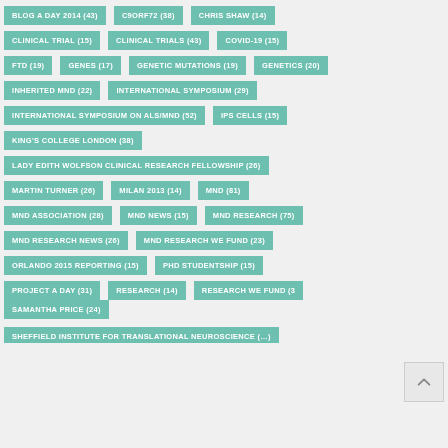BLOG A DAY 2014 (43)
C9ORF72 (38)
CHRIS SHAW (14)
CLINICAL TRIAL (15)
CLINICAL TRIALS (43)
COVID-19 (15)
FTD (19)
GENES (17)
GENETIC MUTATIONS (19)
GENETICS (20)
INHERITED MND (22)
INTERNATIONAL SYMPOSIUM (29)
INTERNATIONAL SYMPOSIUM ON ALS/MND (52)
IPS CELLS (15)
KING'S COLLEGE LONDON (38)
LADY EDITH WOLFSON CLINICAL RESEARCH FELLOWSHIP (26)
MARTIN TURNER (26)
MILAN 2013 (14)
MND (81)
MND ASSOCIATION (28)
MND NEWS (15)
MND RESEARCH (75)
MND RESEARCH NEWS (26)
MND RESEARCH WE FUND (23)
ORLANDO 2015 REPORTING (15)
PHD STUDENTSHIP (15)
PROJECT A DAY (31)
RESEARCH (14)
RESEARCH WE FUND (3…)
SAMANTHA PRICE (24)
SHEFFIELD INSTITUTE FOR TRANSLATIONAL NEUROSCIENCE (…)